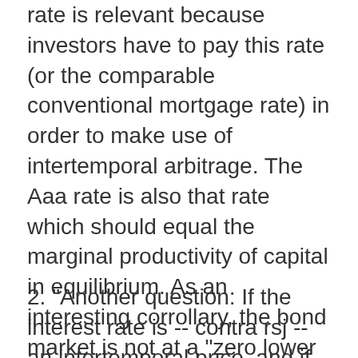rate is relevant because investors have to pay this rate (or the comparable conventional mortgage rate) in order to make use of intertemporal arbitrage. The Aaa rate is also that rate which should equal the marginal productivity of capital in equilibrium. As an interesting corrollary, the bond market is not at a "zero lower bound". The Aaa rate stands at 4.5 percent. It exceeds the nominal growth rate permanently since 2008.
2. "Another question: If the interest rate is -- contra rsj -- an intertemporal price, and if